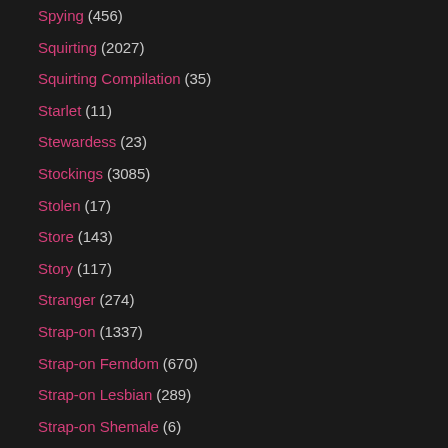Spying (456)
Squirting (2027)
Squirting Compilation (35)
Starlet (11)
Stewardess (23)
Stockings (3085)
Stolen (17)
Store (143)
Story (117)
Stranger (274)
Strap-on (1337)
Strap-on Femdom (670)
Strap-on Lesbian (289)
Strap-on Shemale (6)
Street (364)
Stripper (1238)